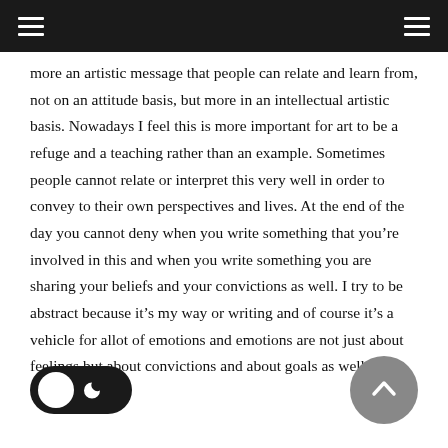navigation bar with hamburger menus
more an artistic message that people can relate and learn from, not on an attitude basis, but more in an intellectual artistic basis. Nowadays I feel this is more important for art to be a refuge and a teaching rather than an example. Sometimes people cannot relate or interpret this very well in order to convey to their own perspectives and lives. At the end of the day you cannot deny when you write something that you’re involved in this and when you write something you are sharing your beliefs and your convictions as well. I try to be abstract because it’s my way or writing and of course it’s a vehicle for allot of emotions and emotions are not just about feelings but about convictions and about goals as well.
[Figure (other): Dark mode toggle switch (pill-shaped, dark background with white circle on left and crescent moon icon on right) and a scroll-to-top button (grey circle with upward chevron arrow)]